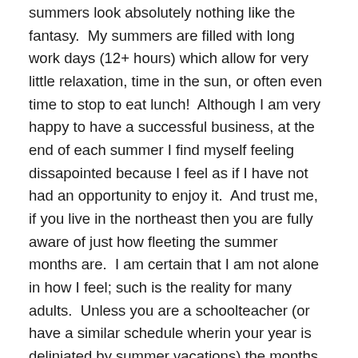summers look absolutely nothing like the fantasy.  My summers are filled with long work days (12+ hours) which allow for very little relaxation, time in the sun, or often even time to stop to eat lunch!  Although I am very happy to have a successful business, at the end of each summer I find myself feeling dissapointed because I feel as if I have not had an opportunity to enjoy it.  And trust me, if you live in the northeast then you are fully aware of just how fleeting the summer months are.  I am certain that I am not alone in how I feel; such is the reality for many adults.  Unless you are a schoolteacher (or have a similar schedule wherin your year is deliniated by summer vacations) the months and ultimately the years just roll together and seem to slip by.  Frankly, it can be depressing.

This summer I have decided that I need to make a